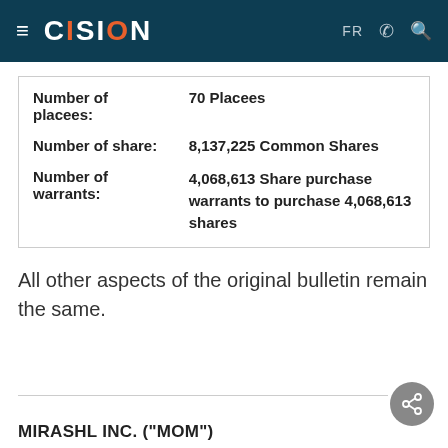CISION — FR
| Number of placees: | 70 Placees |
| Number of share: | 8,137,225 Common Shares |
| Number of warrants: | 4,068,613 Share purchase warrants to purchase 4,068,613 shares |
All other aspects of the original bulletin remain the same.
MIRASHL INC. ("MOM")